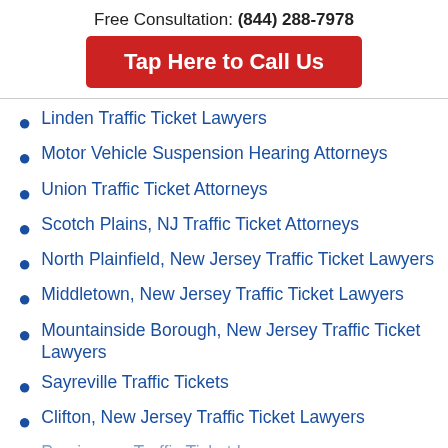Free Consultation: (844) 288-7978
[Figure (other): Red button: Tap Here to Call Us]
Linden Traffic Ticket Lawyers
Motor Vehicle Suspension Hearing Attorneys
Union Traffic Ticket Attorneys
Scotch Plains, NJ Traffic Ticket Attorneys
North Plainfield, New Jersey Traffic Ticket Lawyers
Middletown, New Jersey Traffic Ticket Lawyers
Mountainside Borough, New Jersey Traffic Ticket Lawyers
Sayreville Traffic Tickets
Clifton, New Jersey Traffic Ticket Lawyers
Parsippany Traffic Ticket Lawyers